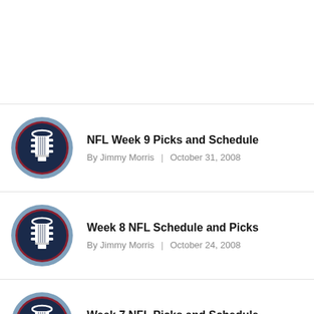NFL Week 9 Picks and Schedule — By Jimmy Morris | October 31, 2008
Week 8 NFL Schedule and Picks — By Jimmy Morris | October 24, 2008
Week 7 NFL Picks and Schedule — By Jimmy Morris | October 17, 2008